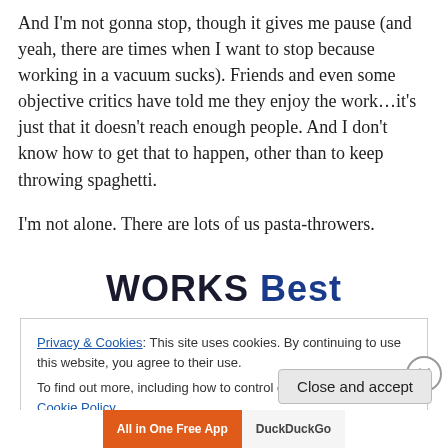And I'm not gonna stop, though it gives me pause (and yeah, there are times when I want to stop because working in a vacuum sucks). Friends and even some objective critics have told me they enjoy the work…it's just that it doesn't reach enough people. And I don't know how to get that to happen, other than to keep throwing spaghetti.
I'm not alone. There are lots of us pasta-throwers.
[Figure (logo): Works Best logo text in bold dark and blue lettering]
Privacy & Cookies: This site uses cookies. By continuing to use this website, you agree to their use. To find out more, including how to control cookies, see here: Cookie Policy
Close and accept